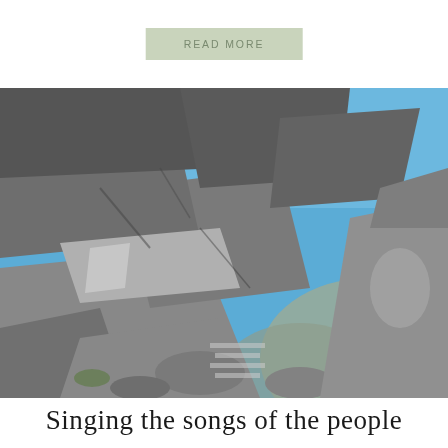READ MORE
[Figure (photo): A woman wearing a green cap and olive jacket sitting on large granite boulders with a blue sky and rocky mountain landscape behind her, smiling at the camera.]
Singing the songs of the people